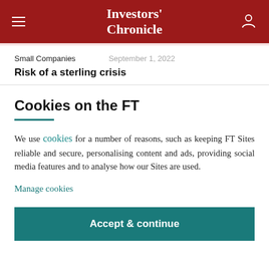Investors' Chronicle
Small Companies   September 1, 2022
Risk of a sterling crisis
Cookies on the FT
We use cookies for a number of reasons, such as keeping FT Sites reliable and secure, personalising content and ads, providing social media features and to analyse how our Sites are used.
Manage cookies
Accept & continue